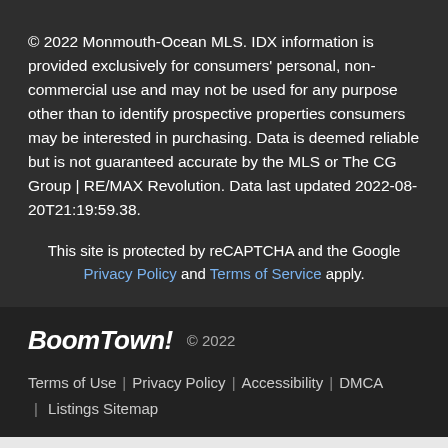© 2022 Monmouth-Ocean MLS. IDX information is provided exclusively for consumers' personal, non-commercial use and may not be used for any purpose other than to identify prospective properties consumers may be interested in purchasing. Data is deemed reliable but is not guaranteed accurate by the MLS or The CG Group | RE/MAX Revolution. Data last updated 2022-08-20T21:19:59.38.
This site is protected by reCAPTCHA and the Google Privacy Policy and Terms of Service apply.
BoomTown!  © 2022
Terms of Use | Privacy Policy | Accessibility | DMCA | Listings Sitemap
Take a Tour
Ask A Question